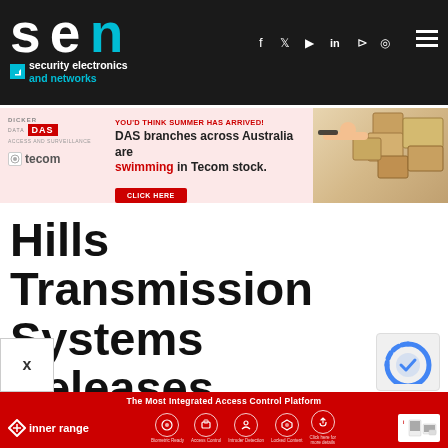SEN - Security Electronics and Networks
[Figure (infographic): DAS / Tecom advertisement banner - YOU'D THINK SUMMER HAS ARRIVED! DAS branches across Australia are swimming in Tecom stock. Click Here.]
Hills Transmission Systems Releases Latitude Nvms
[Figure (infographic): Inner Range - The Most Integrated Access Control Platform - bottom advertisement bar]